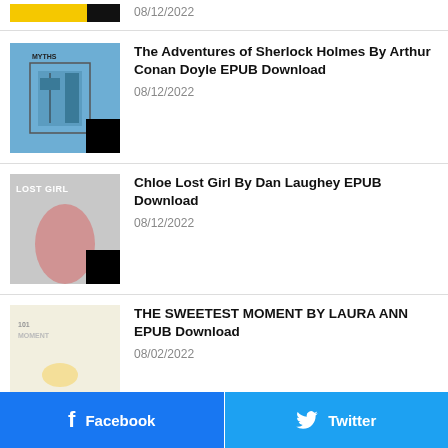[Figure (illustration): Partial book cover, yellow and black, cropped at top]
08/12/2022
[Figure (illustration): Book cover for The Adventures of Sherlock Holmes, blue background with illustrated building/castle]
The Adventures of Sherlock Holmes By Arthur Conan Doyle EPUB Download
08/12/2022
[Figure (illustration): Book cover for Chloe Lost Girl by Dan Laughey, grey/faded with LOST GIRL text]
Chloe Lost Girl By Dan Laughey EPUB Download
08/12/2022
[Figure (illustration): Book cover for The Sweetest Moment by Laura Ann, light/cream colored]
THE SWEETEST MOMENT BY LAURA ANN EPUB Download
08/02/2022
Facebook
Twitter